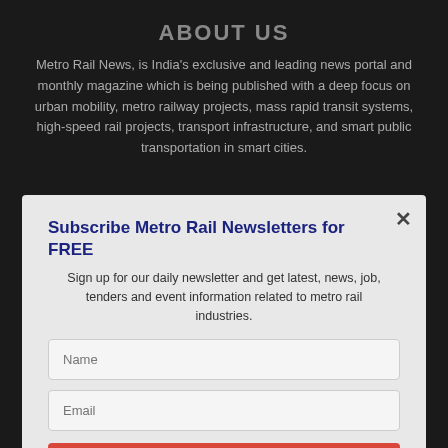ABOUT US
Metro Rail News, is India's exclusive and leading news portal and monthly magazine which is being published with a deep focus on urban mobility, metro railway projects, mass rapid transit systems, high-speed rail projects, transport infrastructure, and smart public transportation in smart cities.
Subscribe Metro Rail Newsletters for FREE
Sign up for our daily newsletter and get latest, news, job, tenders and event information related to metro rail industries.
Name
Email
SUBSCRIBE NOW!
Contact us:
FOLLOW US